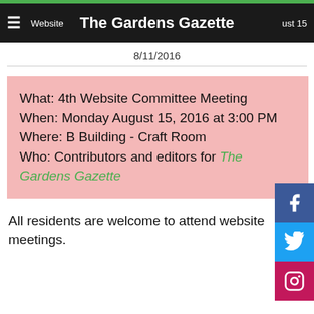Website The Gardens Gazette August 15
8/11/2016
What: 4th Website Committee Meeting
When: Monday August 15, 2016 at 3:00 PM
Where: B Building - Craft Room
Who: Contributors and editors for The Gardens Gazette
All residents are welcome to attend website meetings.